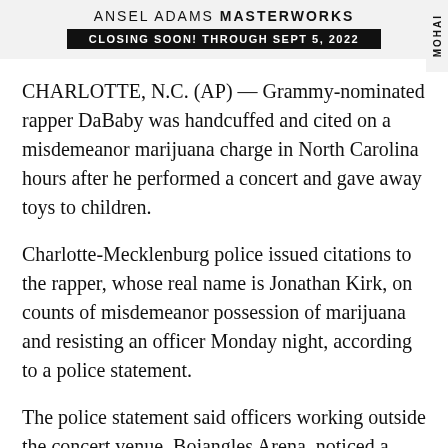[Figure (other): Banner advertisement for Ansel Adams Masterworks exhibition with text 'ANSEL ADAMS MASTERWORKS' and 'CLOSING SOON! THROUGH SEPT 5, 2022' and 'MOHAI' label on the right side]
CHARLOTTE, N.C. (AP) — Grammy-nominated rapper DaBaby was handcuffed and cited on a misdemeanor marijuana charge in North Carolina hours after he performed a concert and gave away toys to children.
Charlotte-Mecklenburg police issued citations to the rapper, whose real name is Jonathan Kirk, on counts of misdemeanor possession of marijuana and resisting an officer Monday night, according to a police statement.
The police statement said officers working outside the concert venue, Bojangles Arena, noticed a strong smell of marijuana coming from the van that